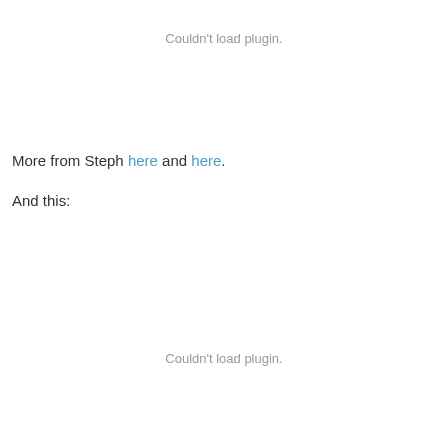Couldn't load plugin.
More from Steph here and here.
And this:
Couldn't load plugin.